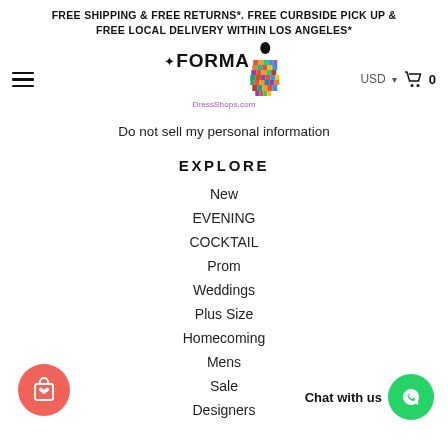FREE SHIPPING & FREE RETURNS*. FREE CURBSIDE PICK UP & FREE LOCAL DELIVERY WITHIN LOS ANGELES*
[Figure (logo): FormalDressShops.com logo with stylized woman in colorful dress]
Do not sell my personal information
EXPLORE
New
EVENING
COCKTAIL
Prom
Weddings
Plus Size
Homecoming
Mens
Sale
Designers
[Figure (illustration): Red circular wishlist/shopping bag button with heart icon]
[Figure (illustration): Chat with us button - green WhatsApp circle icon with label]